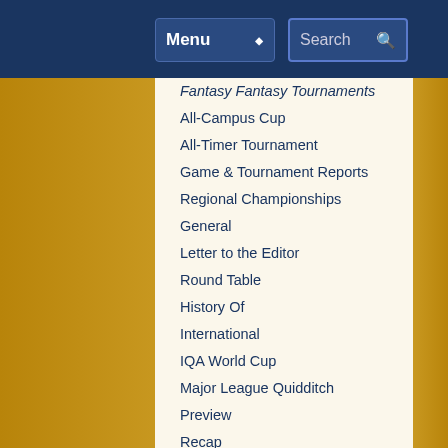Menu | Search
Fantasy Fantasy Tournaments
All-Campus Cup
All-Timer Tournament
Game & Tournament Reports
Regional Championships
General
Letter to the Editor
Round Table
History Of
International
IQA World Cup
Major League Quidditch
Preview
Recap
March Madness
Matches of the Decade
Monday Water Cooler
News
Positional Strategy
Press Release
Profiles
Player Profiles
Team Profiles
Quidditch Australia
Rankings Wrap-Up
Referees